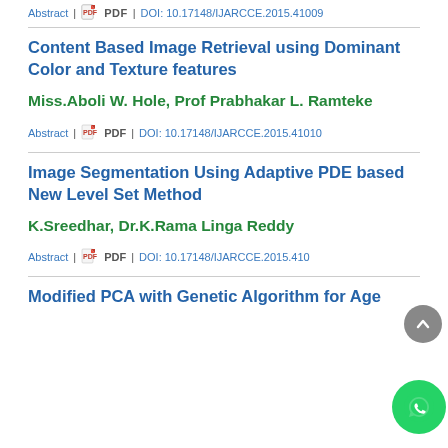Abstract | PDF | DOI: 10.17148/IJARCCE.2015.41009
Content Based Image Retrieval using Dominant Color and Texture features
Miss.Aboli W. Hole, Prof Prabhakar L. Ramteke
Abstract | PDF | DOI: 10.17148/IJARCCE.2015.41010
Image Segmentation Using Adaptive PDE based New Level Set Method
K.Sreedhar, Dr.K.Rama Linga Reddy
Abstract | PDF | DOI: 10.17148/IJARCCE.2015.41010
Modified PCA with Genetic Algorithm for Age